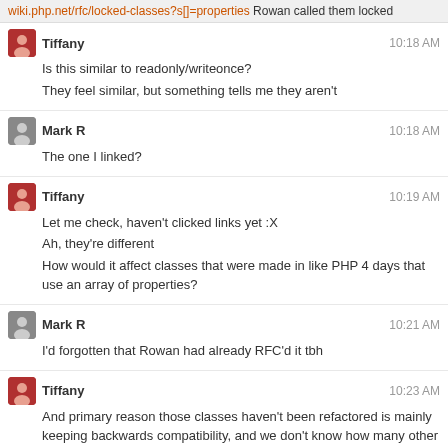wiki.php.net/rfc/locked-classes?s[]=properties Rowan called them locked
Tiffany 10:18 AM
Is this similar to readonly/writeonce?
They feel similar, but something tells me they aren't
Mark R 10:18 AM
The one I linked?
Tiffany 10:19 AM
Let me check, haven't clicked links yet :X
Ah, they're different
How would it affect classes that were made in like PHP 4 days that use an array of properties?
Mark R 10:21 AM
I'd forgotten that Rowan had already RFC'd it tbh
Tiffany 10:23 AM
And primary reason those classes haven't been refactored is mainly keeping backwards compatibility, and we don't know how many other classes in the entire code base are dependent on the array of properties, but short answer is a lot. Like probably in the range of hundreds. :/
Really wish I could change those though...
@JoeWatkins never properly thanked you for introducing me to the file command, it's something I use pretty regularly in my current job to verify files if I'm unable to confirm the integrity of a file by sight
So, thank you :)